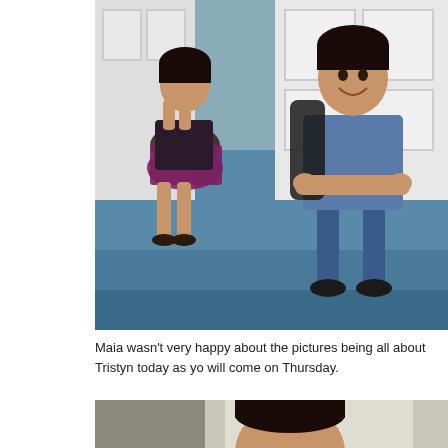[Figure (photo): Two children sitting on blue painted porch steps in front of a white door. A girl on the left sits with her hands on her chin looking unhappy, wearing a dark dress with sandals. A boy on the right smiles with arms crossed, wearing a blue t-shirt, jeans, backpack, and sandals.]
Maia wasn't very happy about the pictures being all about Tristyn today as yo will come on Thursday.
[Figure (photo): Partial photo of a boy's head and upper body visible, showing dark hair and top of head, in front of a white door. Image is cropped at bottom of page.]